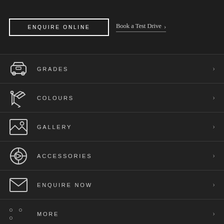ENQUIRE ONLINE
Book a Test Drive
GRADES
COLOURS
GALLERY
ACCESSORIES
ENQUIRE NOW
MORE